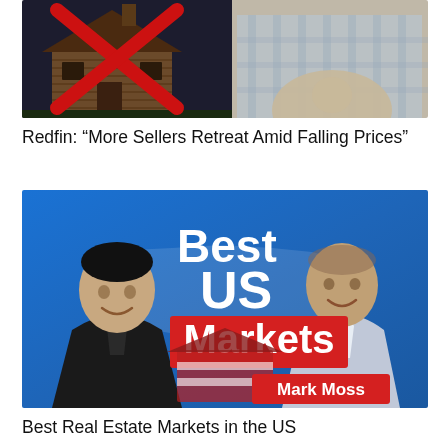[Figure (photo): Top image showing an old wooden house/cabin with a large red X over it on the left, and a person in a plaid shirt on the right, against a dark background.]
Redfin: “More Sellers Retreat Amid Falling Prices”
[Figure (photo): Promotional thumbnail image with blue background showing two men - one in a dark suit on the left, one in a light suit on the right - with text 'Best US Markets' and a 'Mark Moss' label in red.]
Best Real Estate Markets in the US